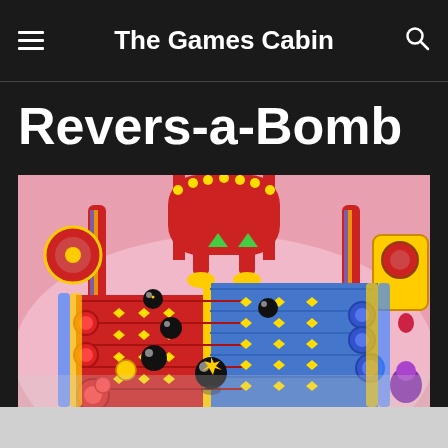The Games Cabin
Revers-a-Bomb
[Figure (screenshot): Screenshot of the Revers-a-Bomb board game mini-game from Mario Party, showing a colorful carnival-themed game board with red and blue lanes, bomb characters, and various decorative elements.]